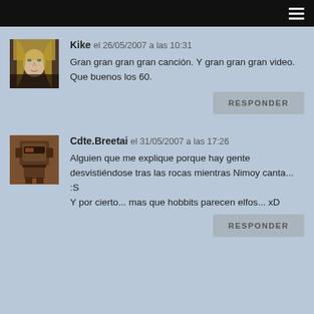Kike el 26/05/2007 a las 10:31
Gran gran gran gran canción. Y gran gran gran video. Que buenos los 60.
RESPONDER
Cdte.Breetai el 31/05/2007 a las 17:26
Alguien que me explique porque hay gente desvistiéndose tras las rocas mientras Nimoy canta... :S
Y por cierto... mas que hobbits parecen elfos... xD
RESPONDER